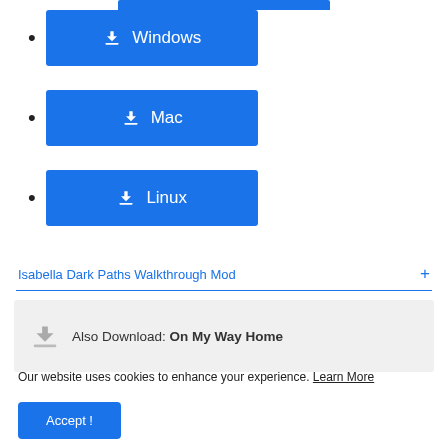Windows
Mac
Linux
Isabella Dark Paths Walkthrough Mod
Also Download: On My Way Home
Our website uses cookies to enhance your experience. Learn More
Accept !